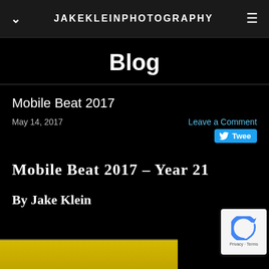JAKEKLEINPHOTOGRAPHY
Blog
Mobile Beat 2017
May 14, 2017   Leave a Comment
Tweet
Mobile Beat 2017 – Year 21
By Jake Klein
[Figure (photo): Yellow/gold toned image at bottom of page, partially cropped]
[Figure (other): reCAPTCHA badge with Privacy - Terms text]